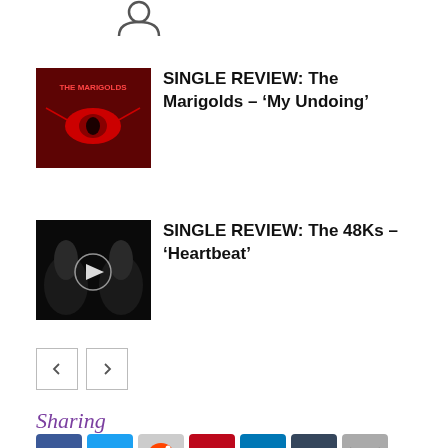[Figure (illustration): User/person icon (sad face outline) at top center]
[Figure (illustration): Album art thumbnail: The Marigolds - red eye graphic on dark background with text 'THE MARIGOLDS']
SINGLE REVIEW: The Marigolds – ‘My Undoing’
[Figure (illustration): Video thumbnail: hands raised in dark image with play button overlay]
SINGLE REVIEW: The 48Ks – ‘Heartbeat’
[Figure (illustration): Pagination navigation buttons: left arrow and right arrow]
Sharing
[Figure (infographic): Social sharing icons: Facebook, Twitter, Reddit, Pinterest, LinkedIn, Tumblr, Email]